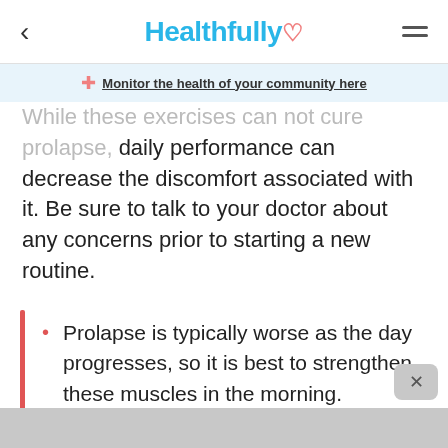Healthfully
Monitor the health of your community here
While these exercises can not cure prolapse, daily performance can decrease the discomfort associated with it. Be sure to talk to your doctor about any concerns prior to starting a new routine.
Prolapse is typically worse as the day progresses, so it is best to strengthen these muscles in the morning.